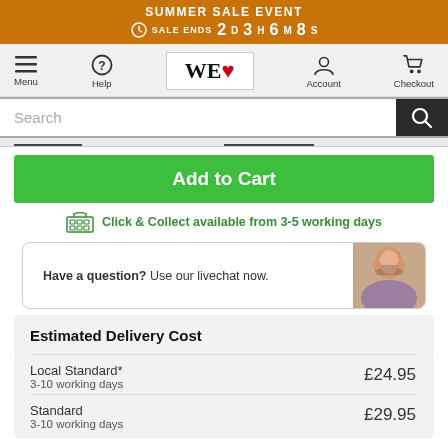SUMMER SALE EVENT — SALE ENDS 2D 3H 6M 8S
[Figure (screenshot): Website navigation bar with Menu, Help, WE LOVE logo, Account, Checkout icons]
Search
Add to Cart
Click & Collect available from 3-5 working days
Have a question? Use our livechat now.
Estimated Delivery Cost
| Service | Timeframe | Cost |
| --- | --- | --- |
| Local Standard* | 3-10 working days | £24.95 |
| Standard | 3-10 working days | £29.95 |